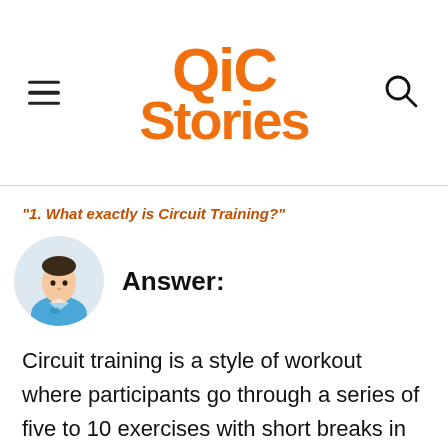QiC Stories
"1. What exactly is Circuit Training?"
[Figure (photo): Circular avatar photo of a man in a blue athletic shirt]
Answer:
Circuit training is a style of workout where participants go through a series of five to 10 exercises with short breaks in between. These exercises target different muscle groups for an optimal workout. The circuit training programme is customised to the needs and preferences of the senior. Unlike popular programmes like HIIT and